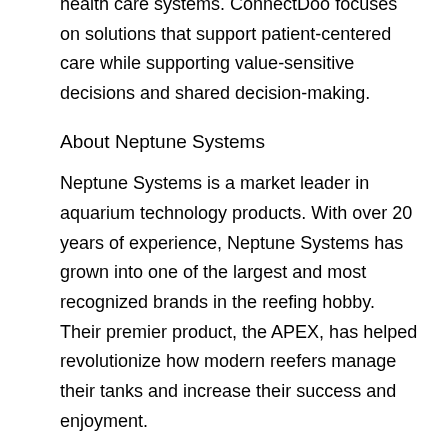health care systems. ConnectDoo focuses on solutions that support patient-centered care while supporting value-sensitive decisions and shared decision-making.
About Neptune Systems
Neptune Systems is a market leader in aquarium technology products. With over 20 years of experience, Neptune Systems has grown into one of the largest and most recognized brands in the reefing hobby. Their premier product, the APEX, has helped revolutionize how modern reefers manage their tanks and increase their success and enjoyment.
About Rayne Nutrition
We take the relationship between our food and pet health very seriously. This dedication has led us to be data- and ingredient-obsessed and is why we work closely with Ph.D. nutritionists and veterinary specialists (whom we like to call the “experts’ experts”). Under their guidance and with a shared focus on better health outcomes, we have designed our range of wellness and